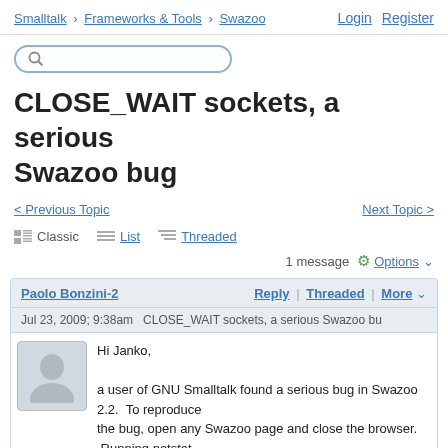Smalltalk › Frameworks & Tools › Swazoo   Login  Register
[Figure (other): Search input box with magnifying glass icon]
CLOSE_WAIT sockets, a serious Swazoo bug
< Previous Topic    Next Topic >
Classic  List  Threaded
1 message   Options ▾
Paolo Bonzini-2   Reply | Threaded | More ▾
Jul 23, 2009; 9:38am   CLOSE_WAIT sockets, a serious Swazoo bu
Hi Janko,

a user of GNU Smalltalk found a serious bug in Swazoo 2.2.  To reproduce
the bug, open any Swazoo page and close the browser.  Running netstat
will show sockets in CLOSE_WAIT status.  Prevention will